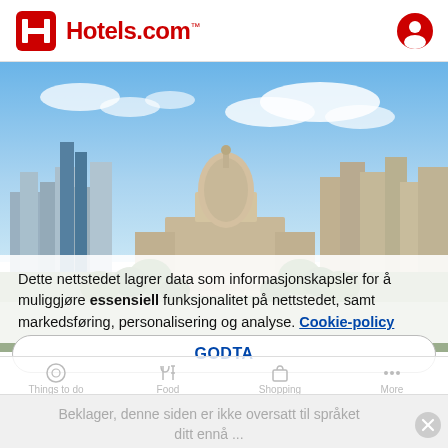Hotels.com
[Figure (photo): Aerial cityscape photo of Austin, Texas with the Texas State Capitol building dome visible in the center, surrounded by downtown buildings, trees, and blue sky with clouds]
Dette nettstedet lagrer data som informasjonskapsler for å muliggjøre essensiell funksjonalitet på nettstedet, samt markedsføring, personalisering og analyse. Cookie-policy
GODTA
Things to do   Food   Shopping   More
Beklager, denne siden er ikke oversatt til språket ditt ennå ...